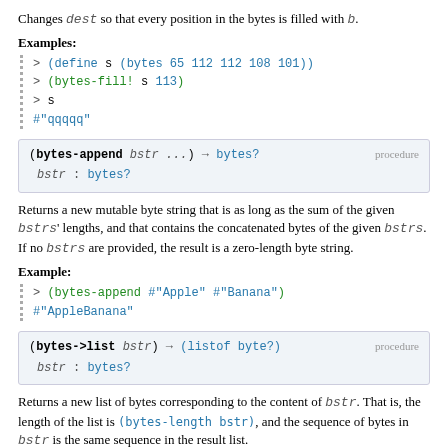Changes dest so that every position in the bytes is filled with b.
Examples:
> (define s (bytes 65 112 112 108 101))
> (bytes-fill! s 113)
> s
#"qqqqq"
(bytes-append bstr ...) → bytes?   procedure
  bstr : bytes?
Returns a new mutable byte string that is as long as the sum of the given bstrs' lengths, and that contains the concatenated bytes of the given bstrs. If no bstrs are provided, the result is a zero-length byte string.
Example:
> (bytes-append #"Apple" #"Banana")
#"AppleBanana"
(bytes->list bstr) → (listof byte?)   procedure
  bstr : bytes?
Returns a new list of bytes corresponding to the content of bstr. That is, the length of the list is (bytes-length bstr), and the sequence of bytes in bstr is the same sequence in the result list.